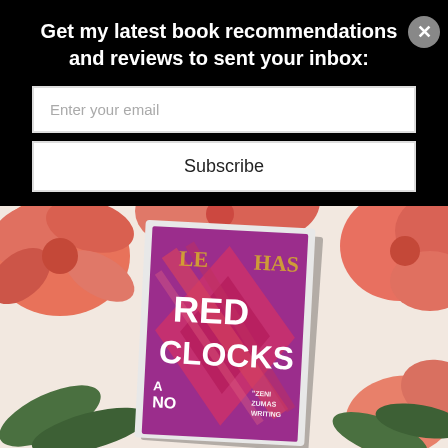Get my latest book recommendations and reviews to sent your inbox:
Enter your email
Subscribe
[Figure (photo): A photo of the book 'Red Clocks' by Leni Zumas (showing partial author name 'LE... ...HAS' partially covered by flowers) placed among coral/pink dahlia flowers on a light surface. The book cover features a purple and red geometric diamond design with 'RED CLOCKS' in white text and 'A NO...' (A Novel) at the bottom, with a quote mentioning 'ZENI ZUMAS WRITING'.]